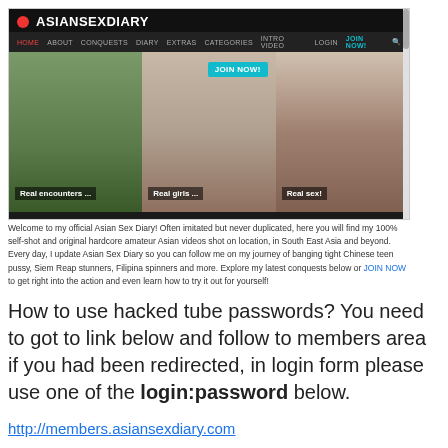[Figure (screenshot): Screenshot of AsianSexDiary website showing navigation bar with logo, menu links (HOME, ABOUT, CONQUESTS, DIARY, EXTRAS, CATEGORIES, INTRO VIDEO, LOGIN, JOIN NOW), a hero image section with three panels labeled 'Real encounters...', 'Real girls...', 'Real sex!', and a JOIN NOW button. Below the hero is descriptive text about the site.]
Welcome to my official Asian Sex Diary! Often imitated but never duplicated, here you will find my 100% self-shot and original hardcore amateur Asian videos shot on location, in South East Asia and beyond. Every day, I update Asian Sex Diary so you can follow me on my journey of banging tight Chinese teen pussy, Siem Reap stunners, Filipina spinners and more. Explore my latest conquests below or JOIN NOW to get right into the action and even learn how to try it out for yourself!
How to use hacked tube passwords? You need to got to link below and follow to members area if you had been redirected, in login form please use one of the login:password below.
http://members.asiansexdiary.com